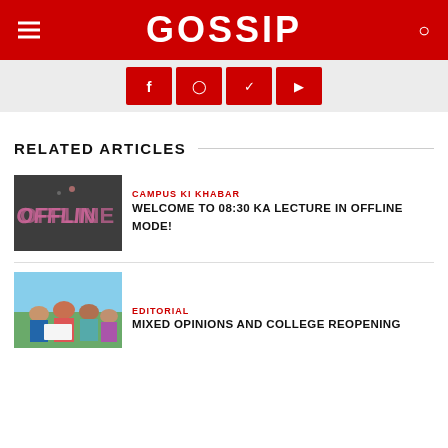GOSSIP
[Figure (screenshot): Social media icon bar with Facebook, Instagram, Twitter, YouTube icons on red background]
RELATED ARTICLES
[Figure (photo): Chalkboard with 'OFFLINE' written in chalk]
CAMPUS KI KHABAR
WELCOME TO 08:30 KA LECTURE IN OFFLINE MODE!
[Figure (photo): Group of students studying together outdoors]
EDITORIAL
MIXED OPINIONS AND COLLEGE REOPENING